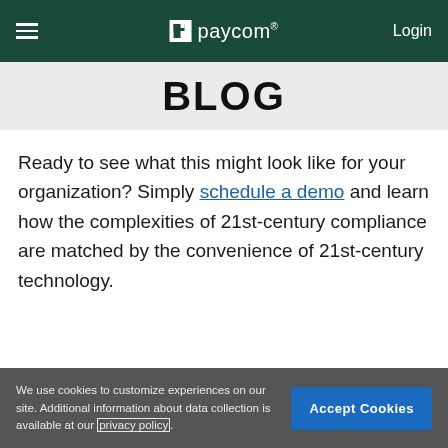≡  paycom®  Login
BLOG
Ready to see what this might look like for your organization? Simply schedule a demo and learn how the complexities of 21st-century compliance are matched by the convenience of 21st-century technology.
We use cookies to customize experiences on our site. Additional information about data collection is available at our privacy policy.